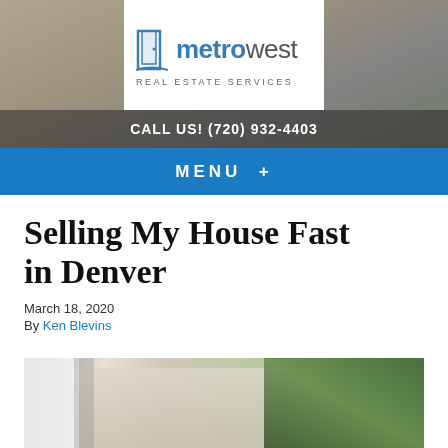[Figure (logo): MetroWest Real Estate Services logo with door icon, 'metro' in blue bold and 'west' in grey, subtitle 'Real Estate Services' in spaced caps, on white background over hero image]
CALL US! (720) 932-4403
MENU +
Selling My House Fast in Denver
March 18, 2020
By Ken Blevins
[Figure (photo): Outdoor residential photo showing white fence post in foreground, house with light siding in background, green trees/bushes, blurred background]